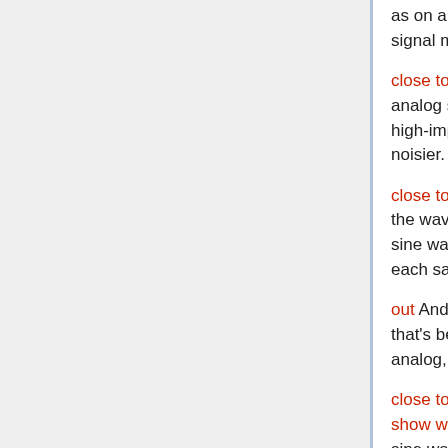as on a CD. The spectrum of the digitized signal matches what we saw earlier
close to SA and what we see now on the analog spectrum analyzer, aside from its high-impedance input being just a smidge noisier.
close to TP ; overview/waveform For now, the waveform display shows our digitized sine wave as a stairstep pattern, one step for each sample.
out And when we look at the output signal that's been converted from digital back to analog, we see...
close to output scope: press CH1 button to show waveform It's exactly like the original sine wave. No stairsteps.
out OK, 1kHz is still a fairly low